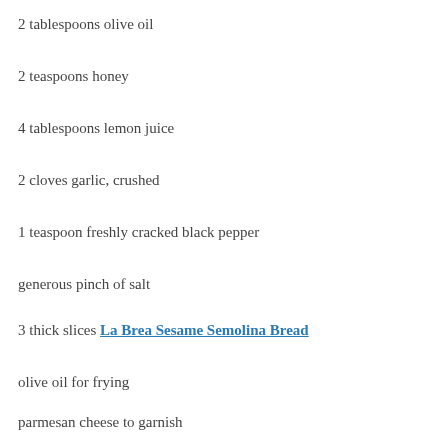2 tablespoons olive oil
2 teaspoons honey
4 tablespoons lemon juice
2 cloves garlic, crushed
1 teaspoon freshly cracked black pepper
generous pinch of salt
3 thick slices La Brea Sesame Semolina Bread
olive oil for frying
parmesan cheese to garnish
PROCEDURE